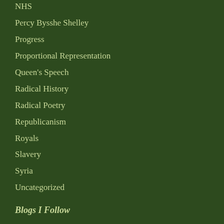NHS
Percy Bysshe Shelley
Progress
Proportional Representation
Queen's Speech
Radical History
Radical Poetry
Republicanism
Royals
Slavery
Syria
Uncategorized
Blogs I Follow
Books on the Line
Portfolio